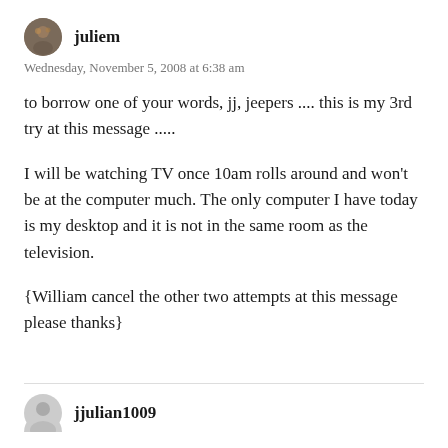juliem
Wednesday, November 5, 2008 at 6:38 am
to borrow one of your words, jj, jeepers .... this is my 3rd try at this message .....
I will be watching TV once 10am rolls around and won't be at the computer much. The only computer I have today is my desktop and it is not in the same room as the television.
{William cancel the other two attempts at this message please thanks}
jjulian1009